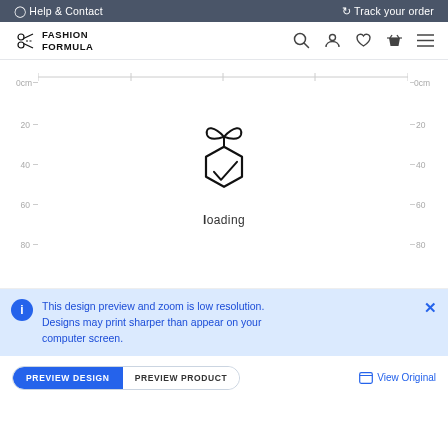Help & Contact  |  Track your order
[Figure (logo): Fashion Formula logo with scissors icon and brand name]
[Figure (screenshot): Product design preview area with cm rulers on left and right sides, showing a loading state with the Fashion Formula gift box logo and 'loading' text]
This design preview and zoom is low resolution. Designs may print sharper than appear on your computer screen.
PREVIEW DESIGN   PREVIEW PRODUCT
View Original